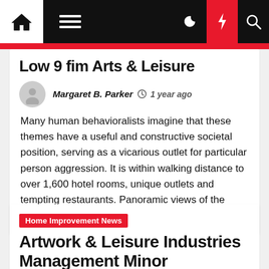Navigation bar with home, menu, moon, bolt, and search icons
Low 9 fim Arts & Leisure
Margaret B. Parker  1 year ago
Many human behavioralists imagine that these themes have a useful and constructive societal position, serving as a vicarious outlet for particular person aggression. It is within walking distance to over 1,600 hotel rooms, unique outlets and tempting restaurants. Panoramic views of the Aerial Lift Bridge and Lake Superior is the [...]
Home Improvement News
Artwork & Leisure Industries Management Minor